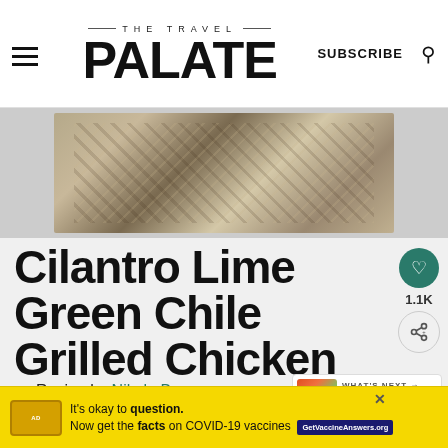THE TRAVEL PALATE — SUBSCRIBE
[Figure (photo): Close-up photo of Cilantro Lime Green Chile Grilled Chicken on a wooden surface, showing herb-encrusted chicken with colorful toppings]
Cilantro Lime Green Chile Grilled Chicken
Recipe by Nikole Berg
Cilantro Lime Green Chile Grilled Chicken is a flavorful and versatile way to kick up the flavor of
[Figure (photo): What's Next thumbnail: Cherry Tomato Caprese Salad]
WHAT'S NEXT → Cherry Tomato Caprese Salad
It's okay to question. Now get the facts on COVID-19 vaccines  GetVaccineAnswers.org